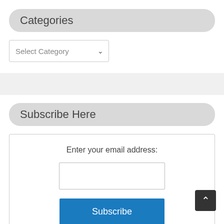Categories
Select Category
Subscribe Here
Enter your email address:
Subscribe
Delivered by FeedBurner